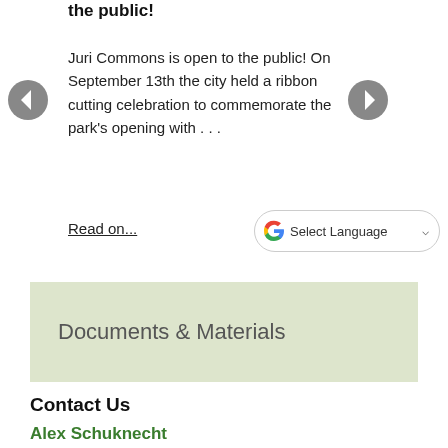the public!
Juri Commons is open to the public! On September 13th the city held a ribbon cutting celebration to commemorate the park's opening with . . .
Read on...
Documents & Materials
Contact Us
Alex Schuknecht
Project Manager
Email
Phone: 628-652-6631